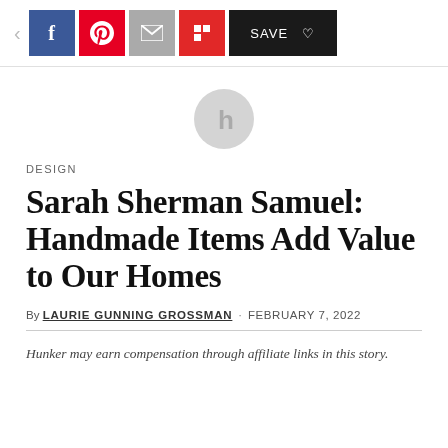< f p [email] r SAVE ♡
[Figure (illustration): Gray circular placeholder icon with a lowercase 'h' letter in the center]
DESIGN
Sarah Sherman Samuel: Handmade Items Add Value to Our Homes
By LAURIE GUNNING GROSSMAN · FEBRUARY 7, 2022
Hunker may earn compensation through affiliate links in this story.